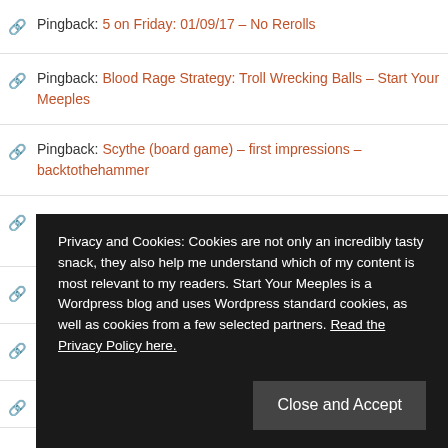Pingback: 5 on Friday: 01/09/17 – No Rerolls
Pingback: Blood Rage Strategy: Troll Wrecking Balls – Start Your Meeples
Pingback: Scythe (board game) – first impressions – backtothehammer
Pingback: Blood Rage Strategy: The Unstoppable Sea Serpent – Start Your Meeples
Privacy and Cookies: Cookies are not only an incredibly tasty snack, they also help me understand which of my content is most relevant to my readers. Start Your Meeples is a Wordpress blog and uses Wordpress standard cookies, as well as cookies from a few selected partners. Read the Privacy Policy here.